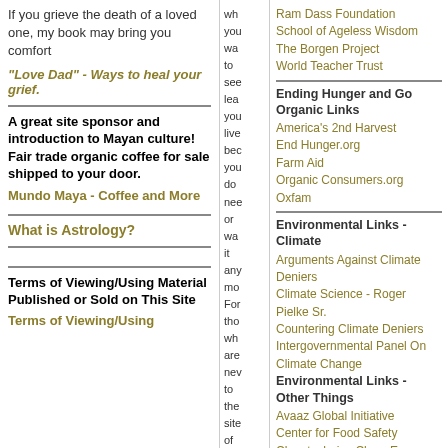If you grieve the death of a loved one, my book may bring you comfort
"Love Dad" - Ways to heal your grief.
A great site sponsor and introduction to Mayan culture! Fair trade organic coffee for sale shipped to your door.
Mundo Maya - Coffee and More
What is Astrology?
Terms of Viewing/Using Material Published or Sold on This Site
Terms of Viewing/Using
wh you wa to see lea you live bec you do nee or wa it any mo For tho wh are nev to the site of
Ram Dass Foundation
School of Ageless Wisdom
The Borgen Project
World Teacher Trust
Ending Hunger and Go Organic Links
America's 2nd Harvest
End Hunger.org
Farm Aid
Organic Consumers.org
Oxfam
Environmental Links - Climate
Arguments Against Climate Deniers
Climate Science - Roger Pielke Sr.
Countering Climate Deniers
Intergovernmental Panel On Climate Change
Environmental Links - Other Things
Avaaz Global Initiative
Center for Food Safety
Cleantechnica Clean Energy Blog
EarthRights International
Ecosystem Update
Environmental Defense
Environmental News Network
Environmental Working Group
Farm Wars - Protect Family Farms